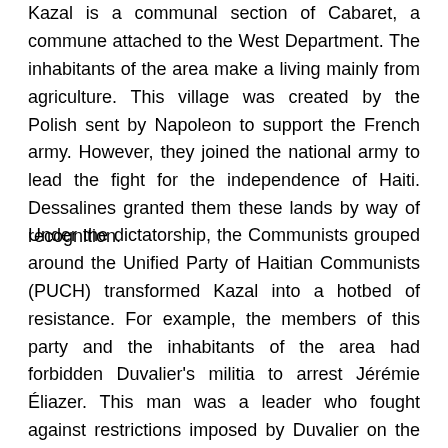Kazal is a communal section of Cabaret, a commune attached to the West Department. The inhabitants of the area make a living mainly from agriculture. This village was created by the Polish sent by Napoleon to support the French army. However, they joined the national army to lead the fight for the independence of Haiti. Dessalines granted them these lands by way of recognition.
Under the dictatorship, the Communists grouped around the Unified Party of Haitian Communists (PUCH) transformed Kazal into a hotbed of resistance. For example, the members of this party and the inhabitants of the area had forbidden Duvalier's militia to arrest Jérémie Éliazer. This man was a leader who fought against restrictions imposed by Duvalier on the use of the Torcelle River for irrigation of the fields of Kazal farmers.